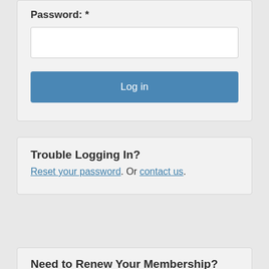Password: *
Log in
Trouble Logging In?
Reset your password. Or contact us.
Need to Renew Your Membership?